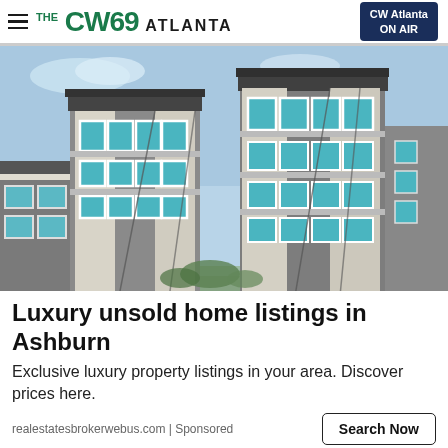THE CW69 ATLANTA | CW Atlanta ON AIR
[Figure (photo): Modern multi-story luxury apartment or condominium building exterior with dark wood siding, white trim windows, balconies, and blue sky background]
Luxury unsold home listings in Ashburn
Exclusive luxury property listings in your area. Discover prices here.
realestatesbrokerwebus.com | Sponsored
Search Now